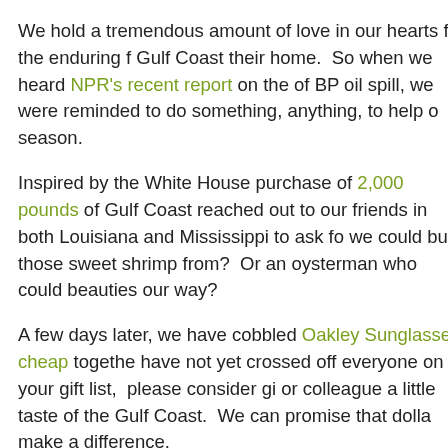We hold a tremendous amount of love in our hearts for the enduring f... Gulf Coast their home.  So when we heard NPR's recent report on the... of BP oil spill, we were reminded to do something, anything, to help o... season.
Inspired by the White House purchase of 2,000 pounds of Gulf Coast... reached out to our friends in both Louisiana and Mississippi to ask fo... we could buy those sweet shrimp from?  Or an oysterman who could ... beauties our way?
A few days later, we have cobbled Oakley Sunglasses cheap togethe... have not yet crossed off everyone on your gift list,  please consider gi... or colleague a little taste of the Gulf Coast.  We can promise that dolla... make a difference.
SO WHY NOT...
Indulge them with a few pounds of fresh Gulf shrimp from Anna...
“Shrimper Lance Nacio hails from bayou country southwest of L...